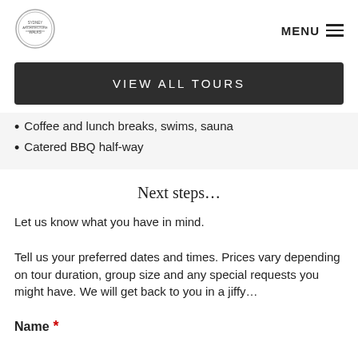MENU
[Figure (logo): Circular stamp-style logo with text]
VIEW ALL TOURS
Coffee and lunch breaks, swims, sauna
Catered BBQ half-way
Next steps…
Let us know what you have in mind.
Tell us your preferred dates and times. Prices vary depending on tour duration, group size and any special requests you might have. We will get back to you in a jiffy…
Name *